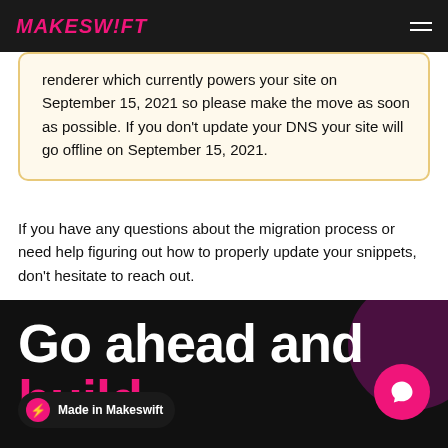MAKESWIFT
renderer which currently powers your site on September 15, 2021 so please make the move as soon as possible. If you don't update your DNS your site will go offline on September 15, 2021.
If you have any questions about the migration process or need help figuring out how to properly update your snippets, don't hesitate to reach out.
Go ahead and build.